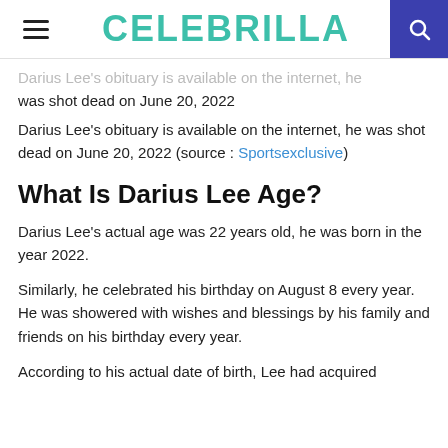CELEBRILLA
Darius Lee's obituary is available on the internet, he was shot dead on June 20, 2022
Darius Lee's obituary is available on the internet, he was shot dead on June 20, 2022 (source : Sportsexclusive)
What Is Darius Lee Age?
Darius Lee's actual age was 22 years old, he was born in the year 2022.
Similarly, he celebrated his birthday on August 8 every year. He was showered with wishes and blessings by his family and friends on his birthday every year.
According to his actual date of birth, Lee had acquired